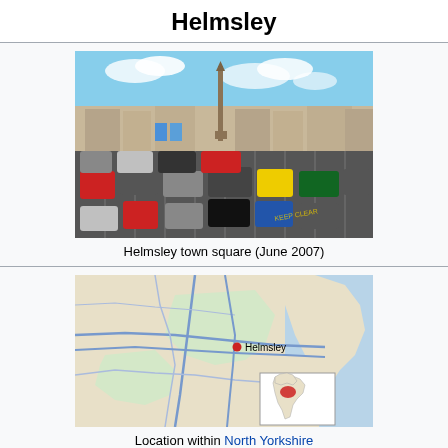Helmsley
[Figure (photo): Helmsley town square showing a car park with many vehicles, a tall market cross/monument in the background, surrounded by stone buildings under a blue sky with clouds.]
Helmsley town square (June 2007)
[Figure (map): Map showing location of Helmsley within North Yorkshire, England. The main map shows roads and terrain of the Yorkshire region with a red dot marking Helmsley. An inset map of Great Britain highlights the region in red.]
Location within North Yorkshire